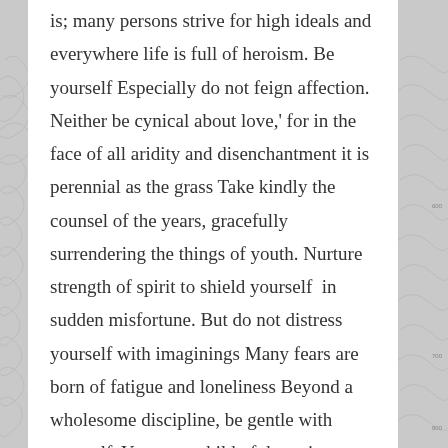is; many persons strive for high ideals and everywhere life is full of heroism. Be yourself Especially do not feign affection. Neither be cynical about love,' for in the face of all aridity and disenchantment it is perennial as the grass Take kindly the counsel of the years, gracefully surrendering the things of youth. Nurture strength of spirit to shield yourself in sudden misfortune. But do not distress yourself with imaginings Many fears are born of fatigue and loneliness Beyond a wholesome discipline, be gentle with yourself. You are a child of the universe, no less than the trees and